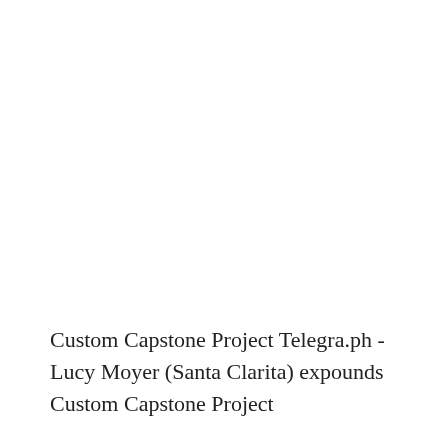Custom Capstone Project Telegra.ph - Lucy Moyer (Santa Clarita) expounds Custom Capstone Project